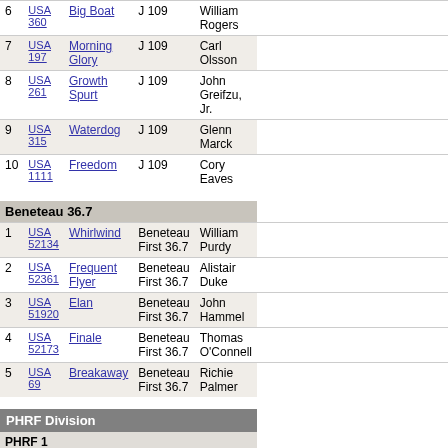| # | Sail | Boat | Class | Skipper |
| --- | --- | --- | --- | --- |
| 6 | USA 360 | Big Boat | J 109 | William Rogers |
| 7 | USA 197 | Morning Glory | J 109 | Carl Olsson |
| 8 | USA 261 | Growth Spurt | J 109 | John Greifzu, Jr. |
| 9 | USA 315 | Waterdog | J 109 | Glenn Marck |
| 10 | USA 1111 | Freedom | J 109 | Cory Eaves |
Beneteau 36.7
| # | Sail | Boat | Class | Skipper |
| --- | --- | --- | --- | --- |
| 1 | USA 52134 | Whirlwind | Beneteau First 36.7 | William Purdy |
| 2 | USA 52361 | Frequent Flyer | Beneteau First 36.7 | Alistair Duke |
| 3 | USA 51920 | Elan | Beneteau First 36.7 | John Hammel |
| 4 | USA 52173 | Finale | Beneteau First 36.7 | Thomas O'Connell |
| 5 | USA 69 | Breakaway | Beneteau First 36.7 | Richie Palmer |
PHRF Division
PHRF 1
| # | Sail | Boat | Class | Skipper | Rating | Date | Elapsed | Corrected |
| --- | --- | --- | --- | --- | --- | --- | --- | --- |
| 1 | USA 32006 | Six Brothers | C-32 | Chris Kramer | 57.0 | 24/Apr/16 - 12:08:01 | 0:00:53:01 | 0:00:48 |